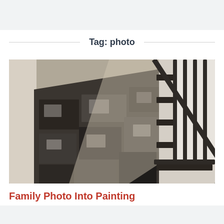Tag: photo
[Figure (photo): A black and white photo collage mounted on a staircase wall, showing many family photos arranged in a large triangular/diagonal composition following the staircase line, with white stair balusters and dark handrail visible on the right.]
Family Photo Into Painting